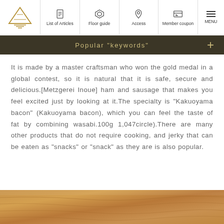List of Articles | Floor guide | Access | Member coupon | MENU
Popular "keywords"
It is made by a master craftsman who won the gold medal in a global contest, so it is natural that it is safe, secure and delicious.[Metzgerei Inoue] ham and sausage that makes you feel excited just by looking at it.The specialty is "Kakuoyama bacon" (Kakuoyama bacon), which you can feel the taste of fat by combining wasabi.100g 1,047circle).There are many other products that do not require cooking, and jerky that can be eaten as "snacks" or "snack" as they are is also popular.
[Figure (photo): Close-up photo of a wooden surface or cutting board, warm brown tones with wood grain visible]